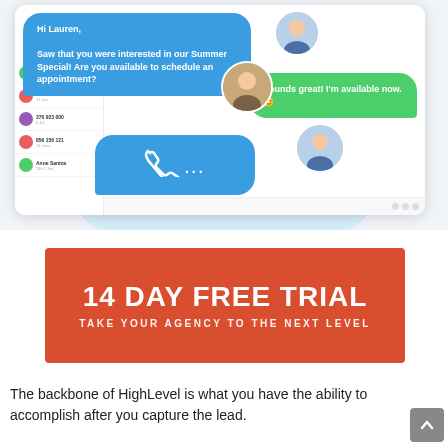[Figure (screenshot): A chat messaging interface mockup showing a blue chat bubble reading 'Hi Lauren, Saw that you were interested in our Summer Special! Are you available to schedule an appointment?', a green reply bubble reading 'Sounds great! I'm available now. 😊', a blue phone/call bubble with ellipsis, and a contact list sidebar with colored avatar circles.]
14 DAY FREE TRIAL
TAKE YOUR AGENCY TO THE NEXT LEVEL
The backbone of HighLevel is what you have the ability to accomplish after you capture the lead.